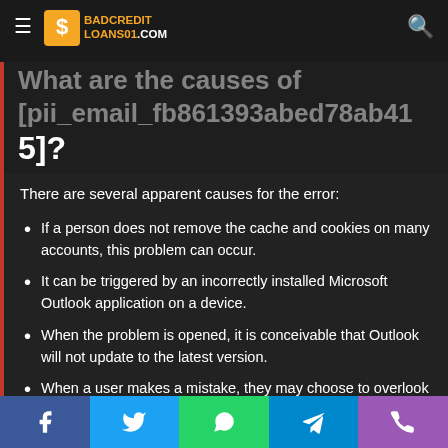BADCREDITLOANS01.COM
What are the causes of [pii_email_fb861393abed78ab415]?
There are several apparent causes for the error:
If a person does not remove the cache and cookies on many accounts, this problem can occur.
It can be triggered by an incorrectly installed Microsoft Outlook application on a device.
When the problem is opened, it is conceivable that Outlook will not update to the latest version.
When a user makes a mistake, they may choose to overlook it.
Facebook, Twitter, WhatsApp, Telegram, Phone share buttons